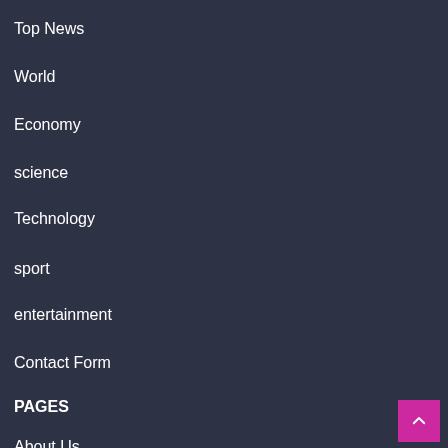Top News
World
Economy
science
Technology
sport
entertainment
Contact Form
PAGES
About Us
Contact Form
DMCA